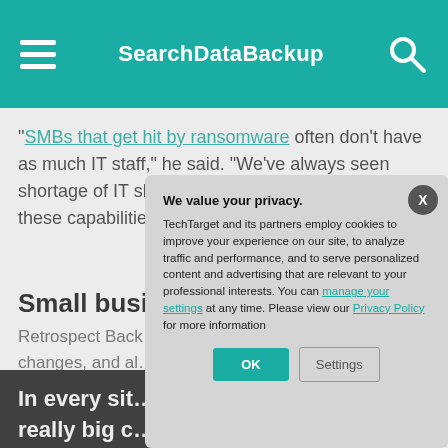SearchDataBackup
"SMBs that get hit by ransomware often don't have as much IT staff," he said. "We've always seen shortage of IT skills even in the enterprise. [Adding] these capabilities is essential."
Small busine…
Retrospect Back… look for changes… changes, and al… excessive chan…
In every sit… really big c… chance ran… there's one… watching d…
We value your privacy.
TechTarget and its partners employ cookies to improve your experience on our site, to analyze traffic and performance, and to serve personalized content and advertising that are relevant to your professional interests. You can manage your settings at any time. Please view our Privacy Policy for more information